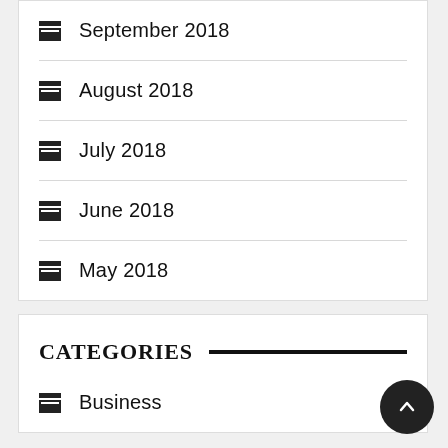September 2018
August 2018
July 2018
June 2018
May 2018
CATEGORIES
Business